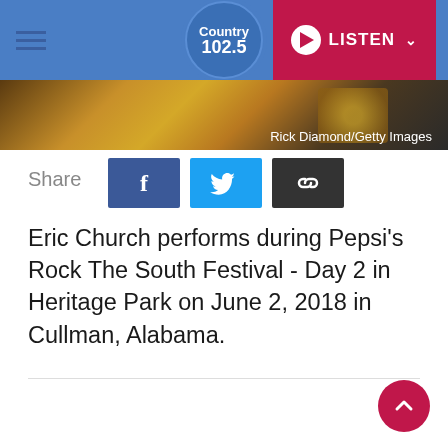Country 102.5 | LISTEN
[Figure (photo): Partial photo of a guitar with dark background, credited to Rick Diamond/Getty Images]
Rick Diamond/Getty Images
Share
[Figure (screenshot): Share buttons: Facebook (f), Twitter (bird icon), and link icon]
Eric Church performs during Pepsi’s Rock The South Festival - Day 2 in Heritage Park on June 2, 2018 in Cullman, Alabama.